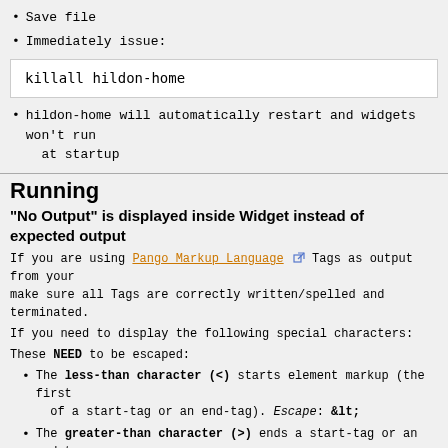Save file
Immediately issue:
killall hildon-home
hildon-home will automatically restart and widgets won't run at startup
Running
"No Output" is displayed inside Widget instead of expected output
If you are using Pango Markup Language Tags as output from your make sure all Tags are correctly written/spelled and terminated.
If you need to display the following special characters:
These NEED to be escaped:
The less-than character (<) starts element markup (the first of a start-tag or an end-tag). Escape: &lt;
The greater-than character (>) ends a start-tag or an end-tag. &gt;
These MIGHT NEED to be escaped:
The ampersand character (&) starts entity markup (the first of a character entity reference). Escape: &amp;
The double quote character (") can be symbolised with this